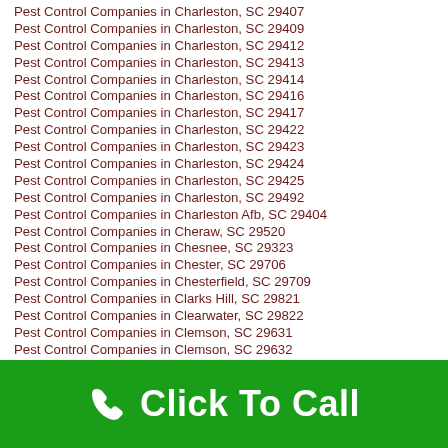Pest Control Companies in Charleston, SC 29407
Pest Control Companies in Charleston, SC 29409
Pest Control Companies in Charleston, SC 29412
Pest Control Companies in Charleston, SC 29413
Pest Control Companies in Charleston, SC 29414
Pest Control Companies in Charleston, SC 29416
Pest Control Companies in Charleston, SC 29417
Pest Control Companies in Charleston, SC 29422
Pest Control Companies in Charleston, SC 29423
Pest Control Companies in Charleston, SC 29424
Pest Control Companies in Charleston, SC 29425
Pest Control Companies in Charleston, SC 29492
Pest Control Companies in Charleston Afb, SC 29404
Pest Control Companies in Cheraw, SC 29520
Pest Control Companies in Chesnee, SC 29323
Pest Control Companies in Chester, SC 29706
Pest Control Companies in Chesterfield, SC 29709
Pest Control Companies in Clarks Hill, SC 29821
Pest Control Companies in Clearwater, SC 29822
Pest Control Companies in Clemson, SC 29631
Pest Control Companies in Clemson, SC 29632
Pest Control Companies in Clemson, SC 29633
Pest Control Companies in Clemson, SC 29634
Pest Control Companies in Cleveland, SC 29635
Pest Control Companies in Clifton, SC 29324
Pest Control Companies in Clinton, SC 29325
Pest Control Companies in Clio, SC 29525
Pest Control Companies in Clover, SC 29710
Pest Control Companies in Columbia, SC 29201
Click To Call